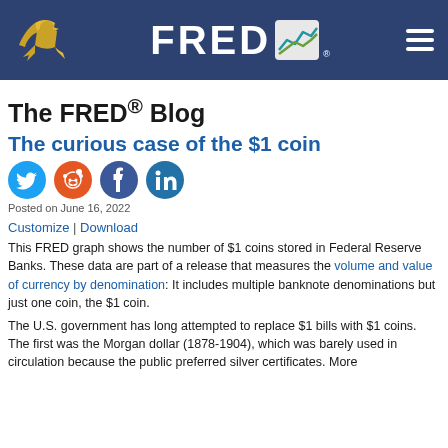FRED Blog header with eagle logo and navigation
The FRED® Blog
The curious case of the $1 coin
[Figure (infographic): Social media sharing icons: Twitter, Reddit, Facebook, LinkedIn]
Posted on June 16, 2022
Customize | Download
This FRED graph shows the number of $1 coins stored in Federal Reserve Banks. These data are part of a release that measures the volume and value of currency by denomination: It includes multiple banknote denominations but just one coin, the $1 coin.
The U.S. government has long attempted to replace $1 bills with $1 coins. The first was the Morgan dollar (1878-1904), which was barely used in circulation because the public preferred silver certificates. More